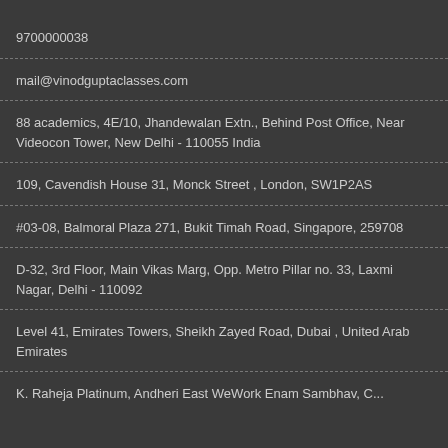9700000038
mail@vinodguptaclasses.com
88 academics, 4E/10, Jhandewalan Extn., Behind Post Office, Near Videocon Tower, New Delhi - 110055 India
109, Cavendish House 31, Monck Street , London, SW1P2AS
#03-08, Balmoral Plaza 271, Bukit Timah Road, Singapore, 259708
D-32, 3rd Floor, Main Vikas Marg, Opp. Metro Pillar no. 33, Laxmi Nagar, Delhi - 110092
Level 41, Emirates Towers, Sheikh Zayed Road, Dubai , United Arab Emirates
K. Raheja Platinum, Andheri East WeWork Enam Sambhav, C...